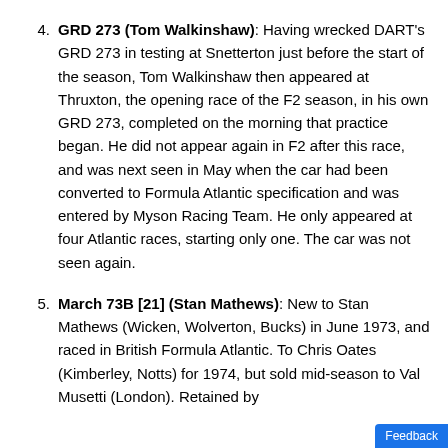GRD 273 (Tom Walkinshaw): Having wrecked DART's GRD 273 in testing at Snetterton just before the start of the season, Tom Walkinshaw then appeared at Thruxton, the opening race of the F2 season, in his own GRD 273, completed on the morning that practice began. He did not appear again in F2 after this race, and was next seen in May when the car had been converted to Formula Atlantic specification and was entered by Myson Racing Team. He only appeared at four Atlantic races, starting only one. The car was not seen again.
March 73B [21] (Stan Mathews): New to Stan Mathews (Wicken, Wolverton, Bucks) in June 1973, and raced in British Formula Atlantic. To Chris Oates (Kimberley, Notts) for 1974, but sold mid-season to Val Musetti (London). Retained by